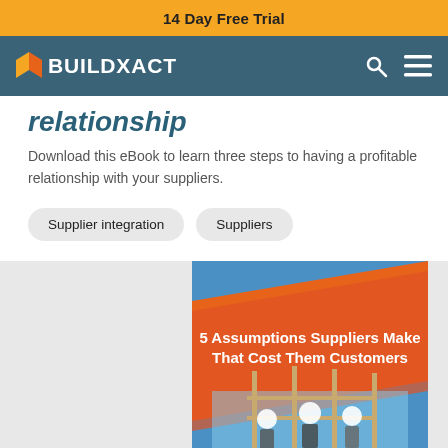14 Day Free Trial
[Figure (logo): Buildxact logo with flame icon on dark teal navigation bar with search and menu icons]
relationship
Download this eBook to learn three steps to having a profitable relationship with your suppliers.
Supplier integration
Suppliers
[Figure (photo): eBook cover titled '5 Assumptions Suppliers Make That Cost Them Customers' with an orange and red diagonal banner design and construction workers wearing hard hats in the background]